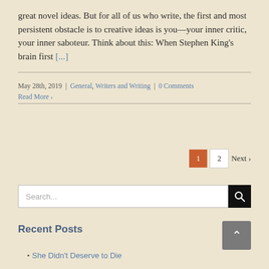great novel ideas. But for all of us who write, the first and most persistent obstacle is to creative ideas is you—your inner critic, your inner saboteur. Think about this: When Stephen King's brain first [...]
May 28th, 2019  |  General, Writers and Writing  |  0 Comments
Read More >
[Figure (other): Pagination navigation with page 1 (active, orange button), page 2 (white button), Next link with arrow]
[Figure (other): Search bar with text input placeholder 'Search...' and black search icon button]
[Figure (other): Back to top button (grey square with upward arrow)]
Recent Posts
She Didn't Deserve to Die